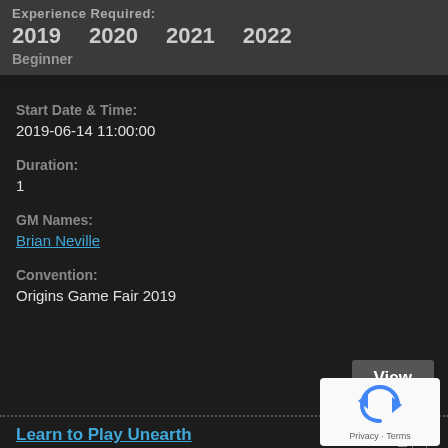Experience Required:
2019  2020  2021  2022
Beginner
Start Date & Time:
2019-06-14 11:00:00
Duration:
1
GM Names:
Brian Neville
Convention:
Origins Game Fair 2019
View
Learn to Play Unearth
[Figure (illustration): Dark background image with cyan hexagon shape and two human figure silhouettes in blue/cyan color]
Back To Top